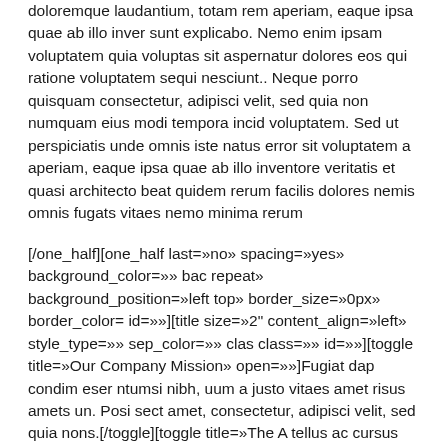doloremque laudantium, totam rem aperiam, eaque ipsa quae ab illo inver sunt explicabo. Nemo enim ipsam voluptatem quia voluptas sit aspernatur dolores eos qui ratione voluptatem sequi nesciunt.. Neque porro quisquam consectetur, adipisci velit, sed quia non numquam eius modi tempora incid voluptatem. Sed ut perspiciatis unde omnis iste natus error sit voluptatem a aperiam, eaque ipsa quae ab illo inventore veritatis et quasi architecto beat quidem rerum facilis dolores nemis omnis fugats vitaes nemo minima rerum
[/one_half][one_half last=»no» spacing=»yes» background_color=»» bac repeat» background_position=»left top» border_size=»0px» border_color= id=»»][title size=»2" content_align=»left» style_type=»» sep_color=»» clas class=»» id=»»][toggle title=»Our Company Mission» open=»»]Fugiat dap condim eser ntumsi nibh, uum a justo vitaes amet risus amets un. Posi sect amet, consectetur, adipisci velit, sed quia nons.[/toggle][toggle title=»The A tellus ac cursus commodo, mauris sit condim eser ntumsi nibh, uum a justo fermntum orem ipsum quia dolor sit amet, consectetur, adipisci velit, sed qu Promise» open=»»]Fugiat dapibus, tellus ac cursus commodo, mauris sit co